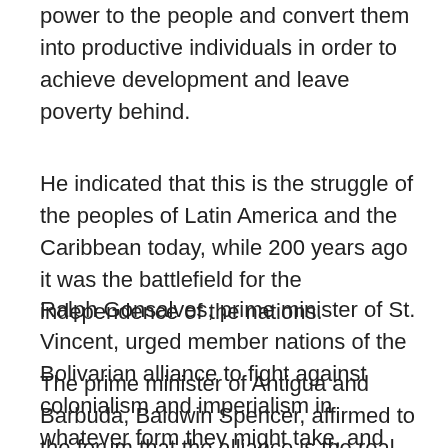power to the people and convert them into productive individuals in order to achieve development and leave poverty behind.
He indicated that this is the struggle of the peoples of Latin America and the Caribbean today, while 200 years ago it was the battlefield for the independence of the nations.
Ralph Gonsalves, prime minister of St. Vincent, urged member nations of the Bolivarian alliance to fight against colonialism and imperialism in whatever form they might take, and expressed his confidence that the people of his country and the region understand that ALBA is the way to leave behind underdevelopment, “…it is a cause that cannot be achieved with people who doubt.”
The prime minister of Antigua and Barbuda, Baldwin Spencer, affirmed to the forum that the alliance is the real